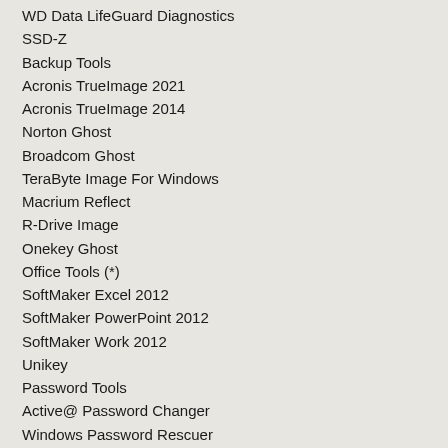WD Data LifeGuard Diagnostics
SSD-Z
Backup Tools
Acronis TrueImage 2021
Acronis TrueImage 2014
Norton Ghost
Broadcom Ghost
TeraByte Image For Windows
Macrium Reflect
R-Drive Image
Onekey Ghost
Office Tools (*)
SoftMaker Excel 2012
SoftMaker PowerPoint 2012
SoftMaker Work 2012
Unikey
Password Tools
Active@ Password Changer
Windows Password Rescuer
PC Unlocke
NTPWEdit 0.6
Remove the password of the domain connecting machine (*)
Состав программ в DOS:
UEFI standard boot
Memtest Pro
Koonboot
Acronis TrueImage 2017
Partition Wizard 9.1